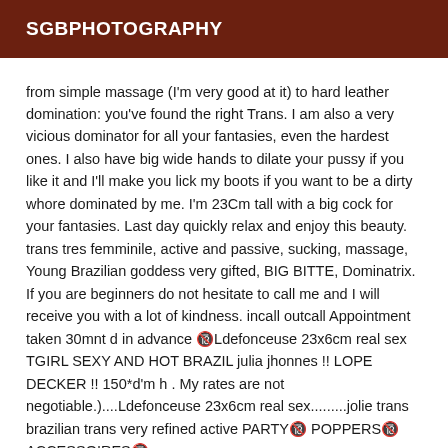SGBPHOTOGRAPHY
from simple massage (I'm very good at it) to hard leather domination: you've found the right Trans. I am also a very vicious dominator for all your fantasies, even the hardest ones. I also have big wide hands to dilate your pussy if you like it and I'll make you lick my boots if you want to be a dirty whore dominated by me. I'm 23Cm tall with a big cock for your fantasies. Last day quickly relax and enjoy this beauty. trans tres femminile, active and passive, sucking, massage, Young Brazilian goddess very gifted, BIG BITTE, Dominatrix. If you are beginners do not hesitate to call me and I will receive you with a lot of kindness. incall outcall Appointment taken 30mnt d in advance 🔞Ldefonceuse 23x6cm real sex TGIRL SEXY AND HOT BRAZIL julia jhonnes !! LOPE DECKER !! 150*d'm h . My rates are not negotiable.)....Ldefonceuse 23x6cm real sex.........jolie trans brazilian trans very refined active PARTY🔞 POPPERS🔞 ACCESSOIRES🔞